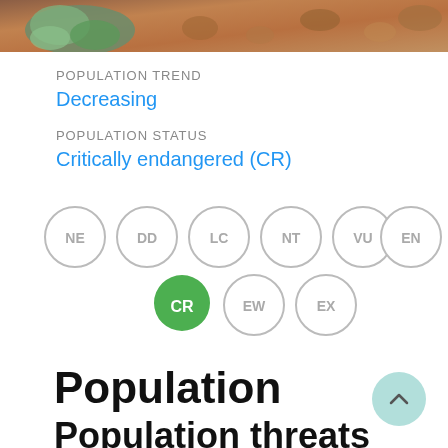[Figure (photo): Close-up photograph of a small succulent plant on reddish-brown soil/gravel ground]
POPULATION TREND
Decreasing
POPULATION STATUS
Critically endangered (CR)
[Figure (infographic): IUCN Red List status diagram showing circles labeled NE, DD, LC, NT, VU, EN in row one; CR (highlighted green teardrop), EW, EX in row two. CR is the active/selected status.]
Population
Population threats